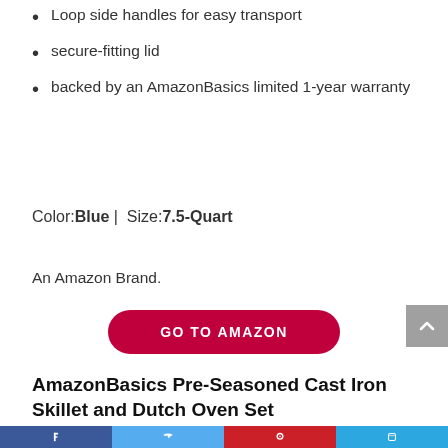Loop side handles for easy transport
secure-fitting lid
backed by an AmazonBasics limited 1-year warranty
Color: Blue | Size: 7.5-Quart
An Amazon Brand.
[Figure (other): GO TO AMAZON button - red pill-shaped button with white uppercase text]
AmazonBasics Pre-Seasoned Cast Iron Skillet and Dutch Oven Set
[Figure (other): Social media sharing bar at bottom with Facebook, Twitter, Pinterest, and another social platform icons]